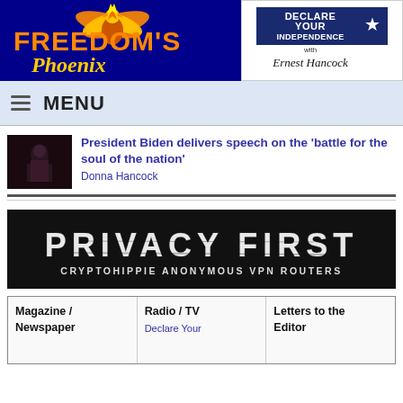[Figure (logo): Freedom's Phoenix logo with golden phoenix bird on dark blue background with orange and gold text]
[Figure (logo): Declare Your Independence with Ernest Hancock logo in black and white]
MENU
[Figure (photo): Thumbnail photo of President Biden speech, dark image]
President Biden delivers speech on the 'battle for the soul of the nation'
Donna Hancock
[Figure (logo): Privacy First - Cryptohippie Anonymous VPN Routers banner, black background with distressed white text]
Magazine / Newspaper
Radio / TV
Declare Your
Letters to the Editor